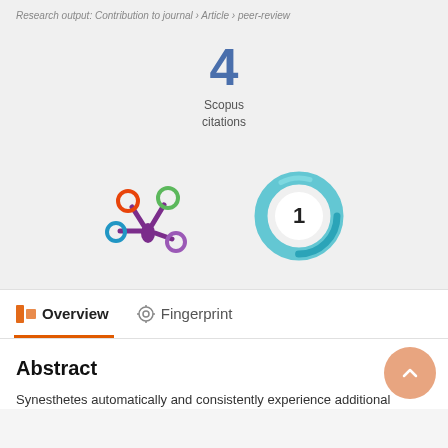Research output: Contribution to journal › Article › peer-review
4
Scopus
citations
[Figure (logo): Altmetric logo - colorful asterisk-like badge with colored circles]
[Figure (infographic): Open Access donut badge showing number 1]
Overview
Fingerprint
Abstract
Synesthetes automatically and consistently experience additional